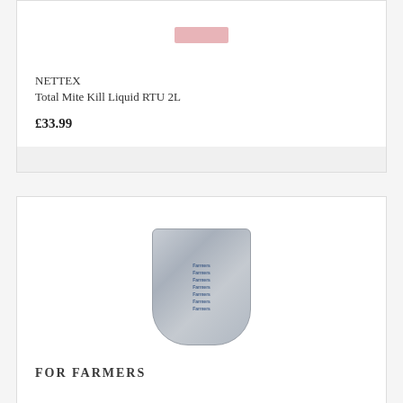[Figure (photo): Small pink/red colored product image of NETTEX Total Mite Kill Liquid RTU 2L at the top of the first card]
NETTEX
Total Mite Kill Liquid RTU 2L
£33.99
[Figure (photo): Large white bag with 'Farmers' branding repeated multiple times on the surface, product bag shown against a plain background]
FOR FARMERS